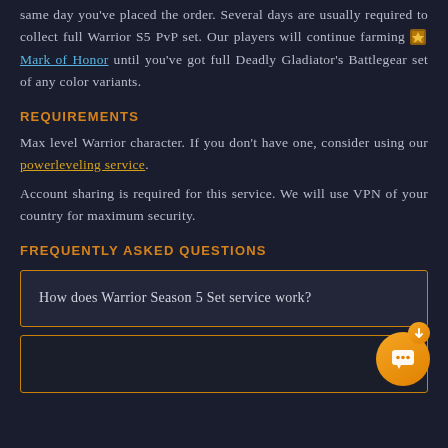same day you've placed the order. Several days are usually required to collect full Warrior S5 PvP set. Our players will continue farming Mark of Honor until you've got full Deadly Gladiator's Battlegear set of any color variants.
REQUIREMENTS
Max level Warrior character. If you don't have one, consider using our powerleveling service.
Account sharing is required for this service. We will use VPN of your country for maximum security.
FREQUENTLY ASKED QUESTIONS
How does Warrior Season 5 Set service work?